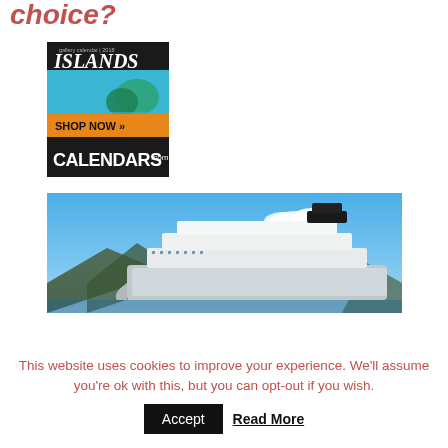choice?
[Figure (illustration): Islands gallery calendar 2018 advertisement for Calendars.com with 'SHOP NOW' button in orange]
[Figure (photo): Large cruise ship photographed from a low angle against a clear blue sky with mountains in background]
This website uses cookies to improve your experience. We'll assume you're ok with this, but you can opt-out if you wish.
Accept
Read More